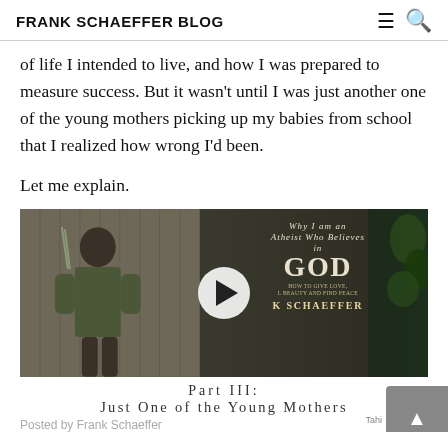FRANK SCHAEFFER BLOG
of life I intended to live, and how I was prepared to measure success. But it wasn't until I was just another one of the young mothers picking up my babies from school that I realized how wrong I'd been.
Let me explain.
[Figure (screenshot): Video thumbnail showing Frank Schaeffer with book cover 'Why I am an Atheist Who Believes in GOD' with a play button overlay]
Part III: Just One of the Young Mothers
Posted by Frank Schaeffer